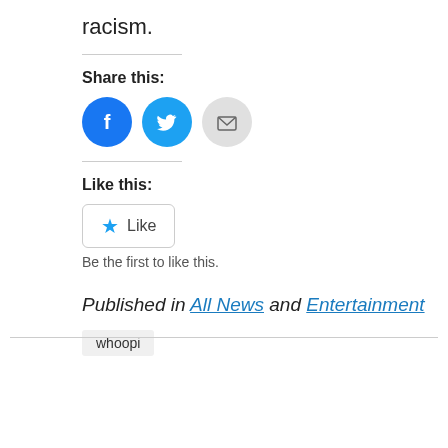racism.
Share this:
[Figure (infographic): Three social sharing icon buttons: Facebook (blue circle with 'f' logo), Twitter (blue circle with bird logo), Email (grey circle with envelope icon)]
Like this:
[Figure (infographic): A Like button with a blue star icon and the text 'Like']
Be the first to like this.
Published in All News and Entertainment
whoopi